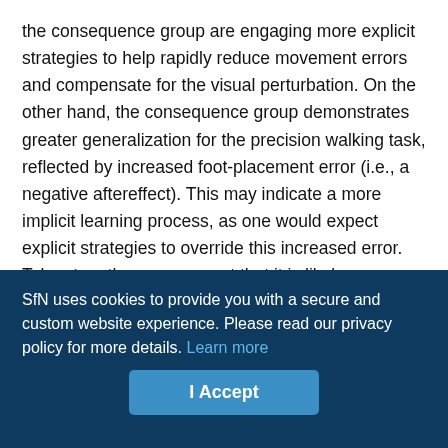the consequence group are engaging more explicit strategies to help rapidly reduce movement errors and compensate for the visual perturbation. On the other hand, the consequence group demonstrates greater generalization for the precision walking task, reflected by increased foot-placement error (i.e., a negative aftereffect). This may indicate a more implicit learning process, as one would expect explicit strategies to override this increased error. Taken together, we suggest that it is likely a combination of both implicit-based and explicit-based learning, but the distinction between these processes is beyond the scope of this study.

Overall, our findings show that experiencing an adverse physical consequence when making errors, which threatens stability,
SfN uses cookies to provide you with a secure and custom website experience. Please read our privacy policy for more details. Learn more